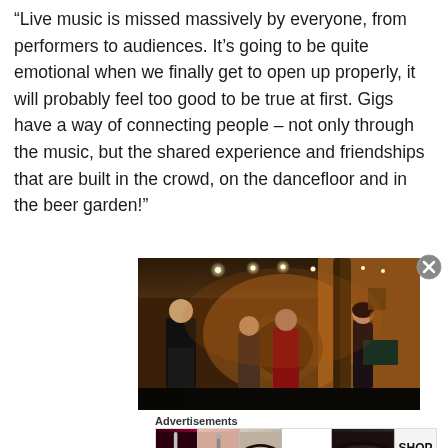“Live music is missed massively by everyone, from performers to audiences. It’s going to be quite emotional when we finally get to open up properly, it will probably feel too good to be true at first. Gigs have a way of connecting people – not only through the music, but the shared experience and friendships that are built in the crowd, on the dancefloor and in the beer garden!”
[Figure (photo): Interior of a music venue with warm amber/orange lighting. Four people standing in the space - a young man in a dark jacket on the left, two older men in the center, and a woman in dark clothing on the right. The venue has wooden ceiling beams with track lighting, decorative items on walls including what appears to be dreamcatchers and artwork, and a barrel visible in the background.]
Advertisements
[Figure (photo): Ulta Beauty advertisement strip showing cosmetics imagery: red lips with makeup brush, an eye with dramatic eye makeup, Ulta Beauty logo, another dramatic eye, and SHOP NOW text on white background.]